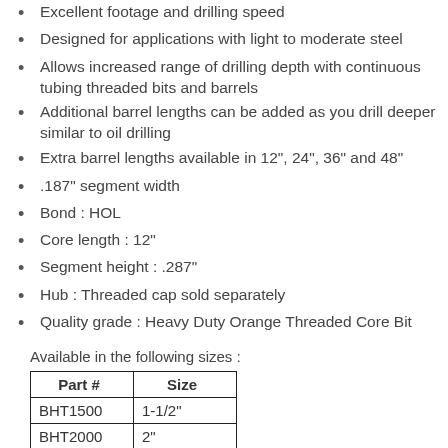Excellent footage and drilling speed
Designed for applications with light to moderate steel
Allows increased range of drilling depth with continuous tubing threaded bits and barrels
Additional barrel lengths can be added as you drill deeper similar to oil drilling
Extra barrel lengths available in 12", 24", 36" and 48"
.187" segment width
Bond : HOL
Core length : 12"
Segment height : .287"
Hub : Threaded cap sold separately
Quality grade : Heavy Duty Orange Threaded Core Bit
Available in the following sizes :
| Part # | Size |
| --- | --- |
| BHT1500 | 1-1/2" |
| BHT2000 | 2" |
| BHT2250 | 2-1/4" |
| BHT2500 | 2-1/2" |